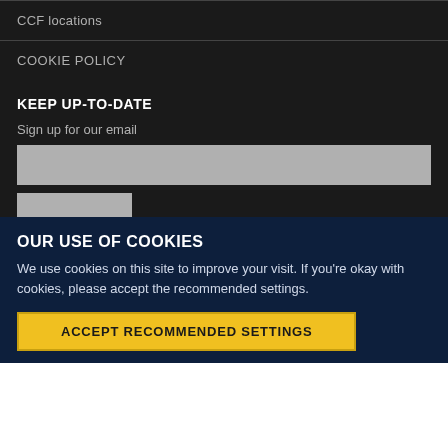CCF locations
COOKIE POLICY
KEEP UP-TO-DATE
Sign up for our email
OUR USE OF COOKIES
We use cookies on this site to improve your visit. If you're okay with cookies, please accept the recommended settings.
ACCEPT RECOMMENDED SETTINGS